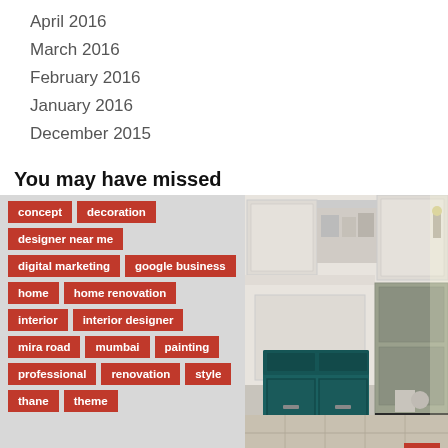April 2016
March 2016
February 2016
January 2016
December 2015
You may have missed
[Figure (other): Tag cloud with red pill-shaped tags on grey background: concept, decoration, designer near me, digital marketing, google business, home, home renovation, interior, interior designer, mira road, mumbai, painting, professional, renovation, style, thane, theme]
[Figure (photo): Kitchen interior photo showing a teal/dark green AGA range cooker with white cabinets, open shelving, and stone tile floor. Red 'kitchen' label in bottom left corner.]